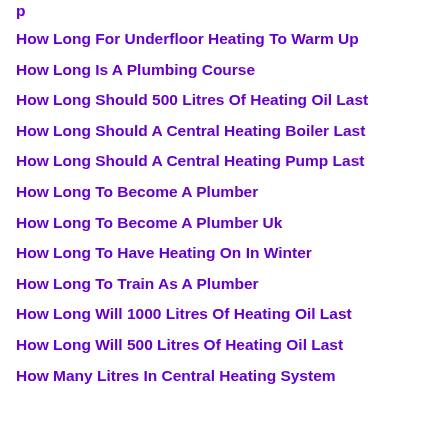p (partial, cut off at top)
How Long For Underfloor Heating To Warm Up
How Long Is A Plumbing Course
How Long Should 500 Litres Of Heating Oil Last
How Long Should A Central Heating Boiler Last
How Long Should A Central Heating Pump Last
How Long To Become A Plumber
How Long To Become A Plumber Uk
How Long To Have Heating On In Winter
How Long To Train As A Plumber
How Long Will 1000 Litres Of Heating Oil Last
How Long Will 500 Litres Of Heating Oil Last
How Many Litres In Central Heating System